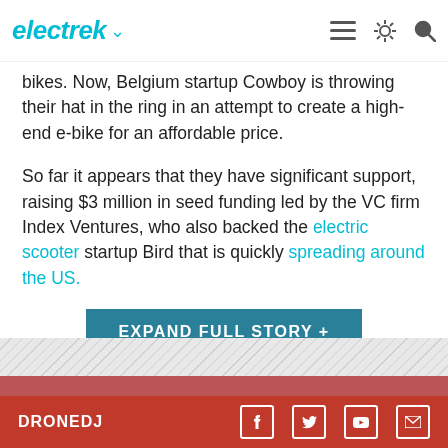electrek
bikes. Now, Belgium startup Cowboy is throwing their hat in the ring in an attempt to create a high-end e-bike for an affordable price.
So far it appears that they have significant support, raising $3 million in seed funding led by the VC firm Index Ventures, who also backed the electric scooter startup Bird that is quickly spreading around the US.
EXPAND FULL STORY +
[Figure (other): Gray hatched/diagonal striped area placeholder]
DRONEDJ